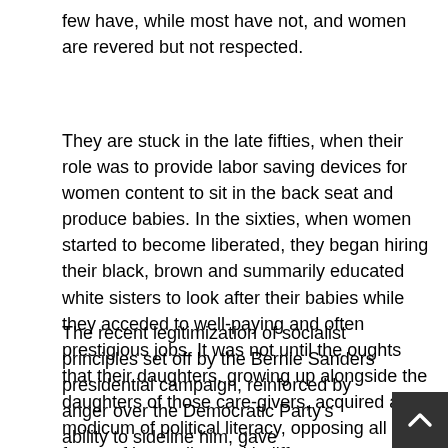few have, while most have not, and women are revered but not respected.
They are stuck in the late fifties, when their role was to provide labor saving devices for women content to sit in the back seat and produce babies. In the sixties, when women started to become liberated, they began hiring their black, brown and summarily educated white sisters to look after their babies while they acceded to well-paying and often prestigious jobs. It was not until the oughts that their daughters, growing up alongside the daughters of those care-givers, acquired a modicum of political literacy, opposing all forms of inequality, and indifferent as to who at any given moment wears the pants.
The recent legitimization of socialist principles set off by the Bernie Sanders presidential campaign, reinforced by anger over the Democratic Party's ability to sideline him, gave progressives their first chance to be relevant since FDR's New Deal. Although actual revolutions only happen when anger is buttressed by a widespread political literacy that has yet to develop in America, the American left could lead a major